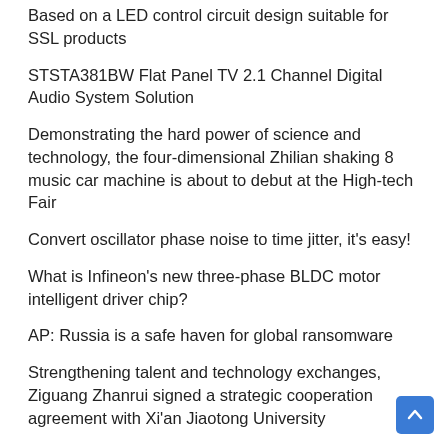Based on a LED control circuit design suitable for SSL products
STSTA381BW Flat Panel TV 2.1 Channel Digital Audio System Solution
Demonstrating the hard power of science and technology, the four-dimensional Zhilian shaking 8 music car machine is about to debut at the High-tech Fair
Convert oscillator phase noise to time jitter, it’s easy!
What is Infineon’s new three-phase BLDC motor intelligent driver chip?
AP: Russia is a safe haven for global ransomware
Strengthening talent and technology exchanges, Ziguang Zhanrui signed a strategic cooperation agreement with Xi’an Jiaotong University